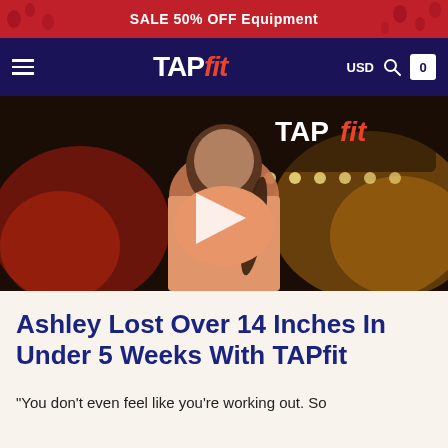SALE 50% OFF Equipment
TAPfit USD 0
[Figure (photo): Video thumbnail showing a woman in a peach/salmon shirt in front of a TAPfit sign with stage lights, with a white play button overlay in the center.]
Ashley Lost Over 14 Inches In Under 5 Weeks With TAPfit
"You don't even feel like you're working out. So